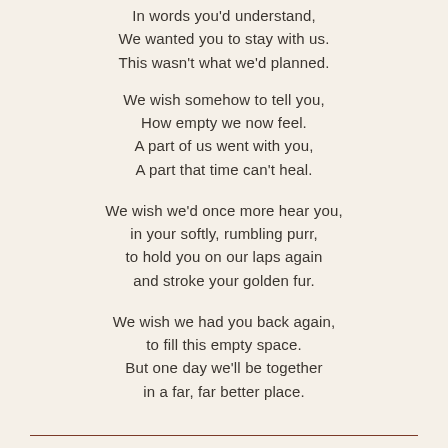In words you'd understand,
We wanted you to stay with us.
This wasn't what we'd planned.
We wish somehow to tell you,
How empty we now feel.
A part of us went with you,
A part that time can't heal.
We wish we'd once more hear you,
in your softly, rumbling purr,
to hold you on our laps again
and stroke your golden fur.
We wish we had you back again,
to fill this empty space.
But one day we'll be together
in a far, far better place.